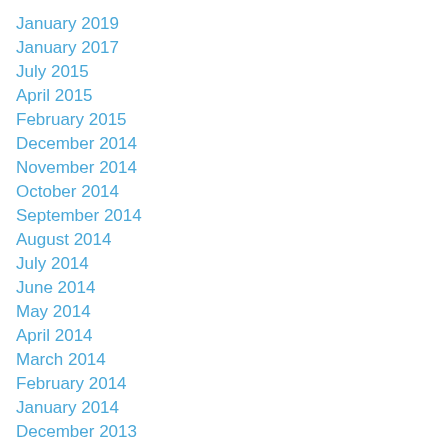January 2019
January 2017
July 2015
April 2015
February 2015
December 2014
November 2014
October 2014
September 2014
August 2014
July 2014
June 2014
May 2014
April 2014
March 2014
February 2014
January 2014
December 2013
November 2013
October 2013